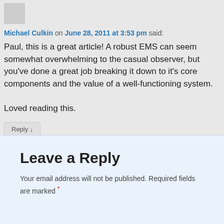[Figure (other): User avatar placeholder image (gray rectangle)]
Michael Culkin on June 28, 2011 at 3:53 pm said:
Paul, this is a great article! A robust EMS can seem somewhat overwhelming to the casual observer, but you've done a great job breaking it down to it's core components and the value of a well-functioning system.

Loved reading this.
Reply ↓
Leave a Reply
Your email address will not be published. Required fields are marked *